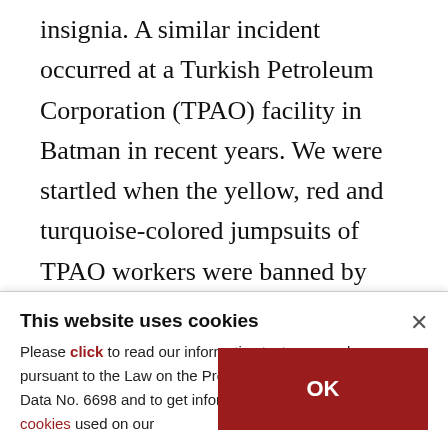insignia. A similar incident occurred at a Turkish Petroleum Corporation (TPAO) facility in Batman in recent years. We were startled when the yellow, red and turquoise-colored jumpsuits of TPAO workers were banned by some engineers and managers of the company on suspicion of making PKK propaganda. These engineers are now suspended from duty for their ties to FETÖ.
* Lawyer
This website uses cookies
× Please click to read our informative text prepared pursuant to the Law on the Protection of Personal Data No. 6698 and to get information about the cookies used on our
OK